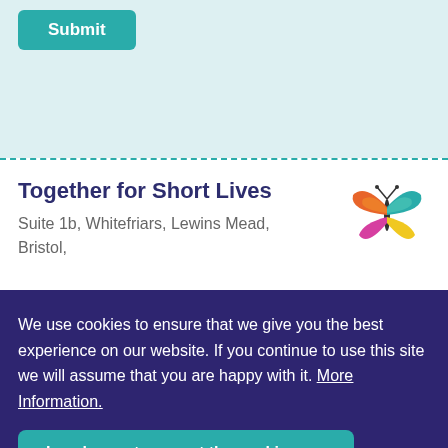Submit
Together for Short Lives
Suite 1b, Whitefriars, Lewins Mead, Bristol,
[Figure (illustration): Colorful butterfly logo with orange, teal, pink, yellow and green wings]
We use cookies to ensure that we give you the best experience on our website. If you continue to use this site we will assume that you are happy with it. More Information.
I am happy to accept the cookies